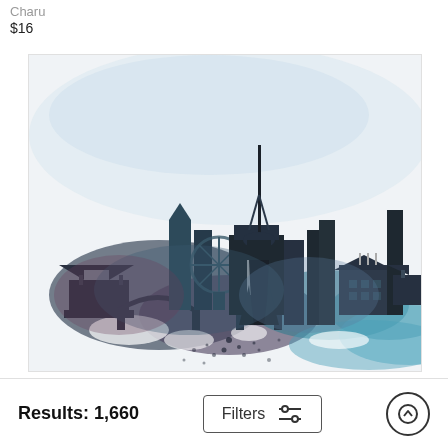Charu
$16
[Figure (illustration): Watercolor cityscape skyline illustration showing various buildings, a tall TV/communications tower in the center, traditional architecture on the sides, rendered in blue, teal, purple and dark tones with watercolor splash effects at the bottom]
Results: 1,660
Filters